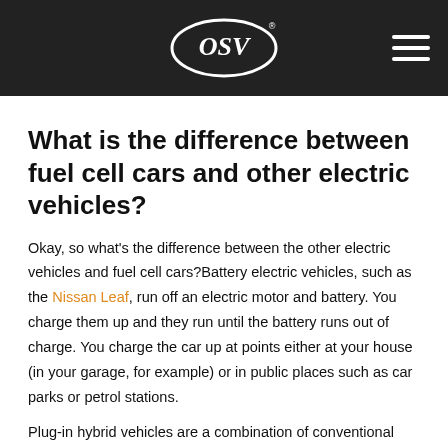OSV logo and navigation
What is the difference between fuel cell cars and other electric vehicles?
Okay, so what's the difference between the other electric vehicles and fuel cell cars?Battery electric vehicles, such as the Nissan Leaf, run off an electric motor and battery. You charge them up and they run until the battery runs out of charge. You charge the car up at points either at your house (in your garage, for example) or in public places such as car parks or petrol stations.
Plug-in hybrid vehicles are a combination of conventional fuel powered vehicles and battery powered electric